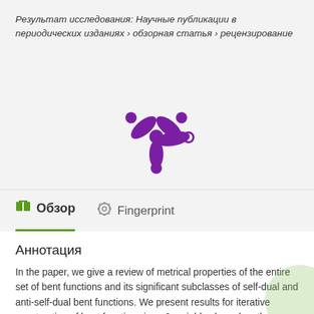Результат исследования: Научные публикации в периодических изданиях › обзорная статья › рецензирование
[Figure (logo): Purple snowflake/asterisk-like logo with a small circle, resembling a research portal brand mark]
Обзор
Fingerprint
Аннотация
In the paper, we give a review of metrical properties of the entire set of bent functions and its significant subclasses of self-dual and anti-self-dual bent functions. We present results for iterative construction of bent functions in n+2 variables based on the concatenation of four bent functions and consider related open problem proposed by one of the